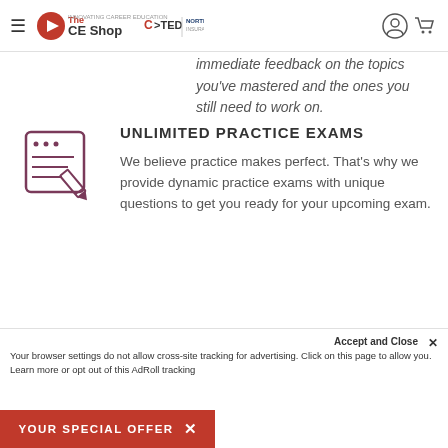The CE Shop | C>TED | NORTHEAST
immediate feedback on the topics you've mastered and the ones you still need to work on.
[Figure (illustration): Icon of a document/quiz with a pencil editing it]
UNLIMITED PRACTICE EXAMS
We believe practice makes perfect. That's why we provide dynamic practice exams with unique questions to get you ready for your upcoming exam.
[Figure (illustration): Icon of a house/home inside a mobile device frame]
STUDY LESSONS BY TOPICS
Improve your practice exam sco...
Your browser settings do not allow cross-site tracking for advertising. Click on this page to allow you. Learn more or opt out of this AdRoll tracking
YOUR SPECIAL OFFER  ×